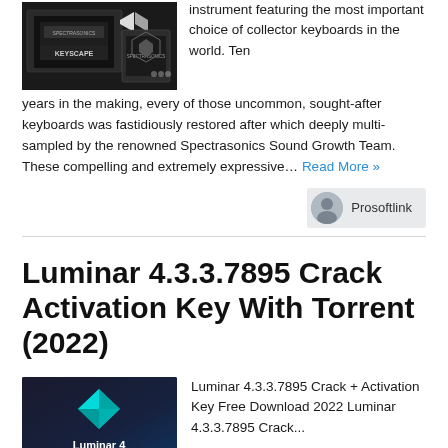[Figure (photo): Product photo of Spectrasonics Keyscape keyboard instrument boxes/packaging in dark tones]
instrument featuring the most important choice of collector keyboards in the world. Ten years in the making, every of those uncommon, sought-after keyboards was fastidiously restored after which deeply multi-sampled by the renowned Spectrasonics Sound Growth Team. These compelling and extremely expressive… Read More »
Prosoftlink
Luminar 4.3.3.7895 Crack Activation Key With Torrent (2022)
[Figure (photo): Luminar 4 logo on dark background with teal geometric gem/crystal shape]
Luminar 4.3.3.7895 Crack + Activation Key Free Download 2022 Luminar 4.3.3.7895 Crack...